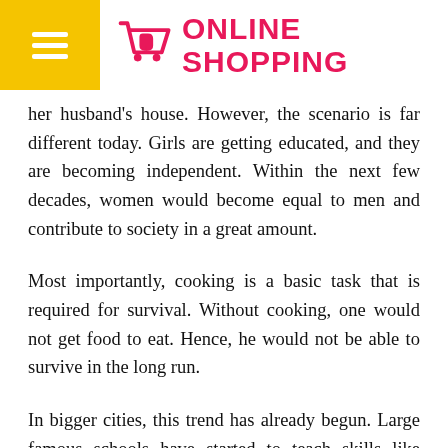ONLINE SHOPPING
her husband's house. However, the scenario is far different today. Girls are getting educated, and they are becoming independent. Within the next few decades, women would become equal to men and contribute to society in a great amount.
Most importantly, cooking is a basic task that is required for survival. Without cooking, one would not get food to eat. Hence, he would not be able to survive in the long run.
In bigger cities, this trend has already begun. Large famous schools have started to teach skills like cooking and baking in their curriculum. This is th